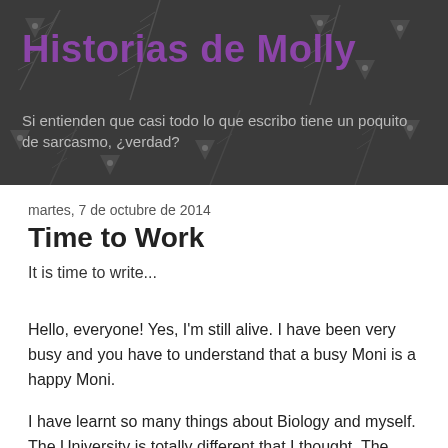Historias de Molly
Si entienden que casi todo lo que escribo tiene un poquito de sarcasmo, ¿verdad?
martes, 7 de octubre de 2014
Time to Work
It is time to write...
Hello, everyone! Yes, I'm still alive. I have been very busy and you have to understand that a busy Moni is a happy Moni.
I have learnt so many things about Biology and myself. The University is totally different that I thought. The Doctors (because everyone has a PhD) are like superheroes.